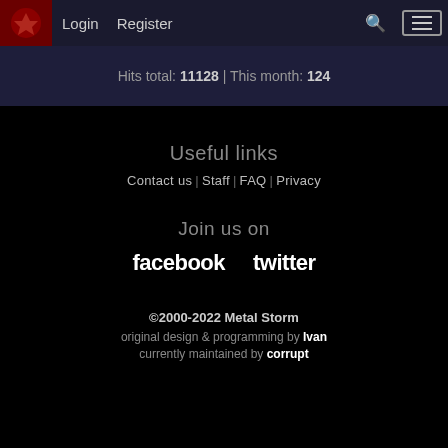Login | Register
Hits total: 11128 | This month: 124
Useful links
Contact us | Staff | FAQ | Privacy
Join us on
facebook   twitter
©2000-2022 Metal Storm
original design & programming by Ivan
currently maintained by corrupt